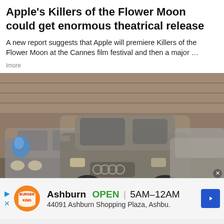Apple's Killers of the Flower Moon could get enormous theatrical release
A new report suggests that Apple will premiere Killers of the Flower Moon at the Cannes film festival and then a major …
lmore
[Figure (photo): Multiple SUVs and cars covered in dust/ash parked closely together in what appears to be a garage or lot. Visible vehicles include a BMW X5, an Audi Q7, and other cars.]
Ashburn  OPEN  5AM–12AM  44091 Ashburn Shopping Plaza, Ashbu.